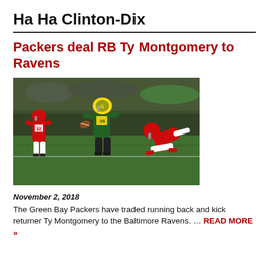Ha Ha Clinton-Dix
Packers deal RB Ty Montgomery to Ravens
[Figure (photo): Green Bay Packers player #38 in yellow and green uniform running with the ball, pursued by two San Francisco 49ers players in red and white uniforms on a football field at night]
November 2, 2018
The Green Bay Packers have traded running back and kick returner Ty Montgomery to the Baltimore Ravens. … READ MORE »